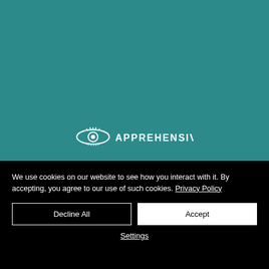[Figure (logo): Apprehensive brand logo: eye icon with lashes and the text APPREHENSIVE in white on teal background]
We use cookies on our website to see how you interact with it. By accepting, you agree to our use of such cookies. Privacy Policy
Decline All
Accept
Settings